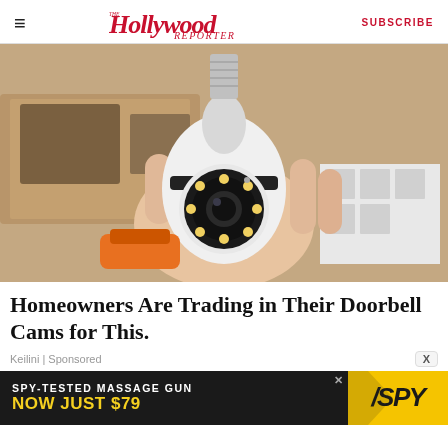The Hollywood Reporter | SUBSCRIBE
[Figure (photo): A hand holding a white security camera shaped like a light bulb with a screw-in base and LED lights around the lens, against a wooden shelf background.]
Homeowners Are Trading in Their Doorbell Cams for This.
Keilini | Sponsored
[Figure (infographic): Advertisement banner: SPY-TESTED MASSAGE GUN NOW JUST $79 with SPY logo on yellow background]